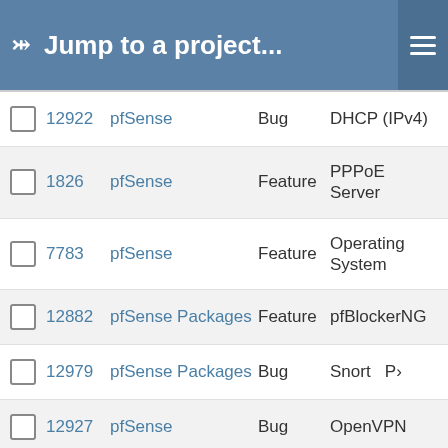Jump to a project...
|  | # | Project | Type | Category |
| --- | --- | --- | --- | --- |
|  | 12922 | pfSense | Bug | DHCP (IPv4) |
|  | 1826 | pfSense | Feature | PPPoE Server |
|  | 7783 | pfSense | Feature | Operating System |
|  | 12882 | pfSense Packages | Feature | pfBlockerNG |
|  | 12979 | pfSense Packages | Bug | Snort |
|  | 12927 | pfSense | Bug | OpenVPN |
|  | 12951 | pfSense Packages | Bug | ERR |